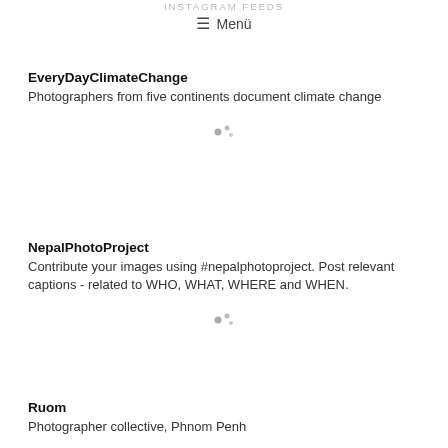INSTAGRAM FEEDS
≡ Menü
EveryDayClimateChange
Photographers from five continents document climate change
[Figure (other): Loading spinner / dots indicator]
NepalPhotoProject
Contribute your images using #nepalphotoproject. Post relevant captions - related to WHO, WHAT, WHERE and WHEN.
[Figure (other): Loading spinner / dots indicator]
Ruom
Photographer collective, Phnom Penh